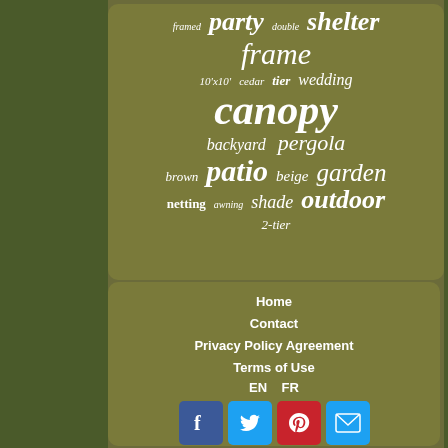[Figure (infographic): Tag cloud with outdoor/garden/canopy related keywords on olive-brown background. Words include: party, shelter, framed, double, frame, 10'x10', cedar, tier, wedding, canopy, backyard, pergola, brown, patio, beige, garden, netting, awning, shade, outdoor, 2-tier]
Home
Contact
Privacy Policy Agreement
Terms of Use
EN   FR